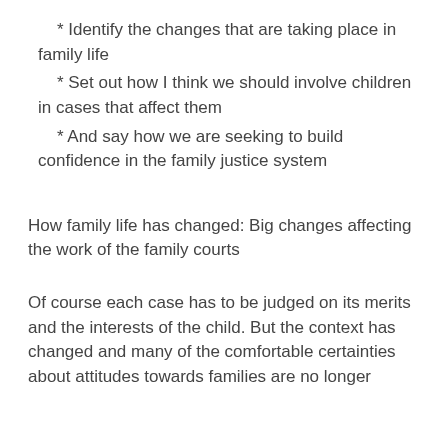* Identify the changes that are taking place in family life
* Set out how I think we should involve children in cases that affect them
* And say how we are seeking to build confidence in the family justice system
How family life has changed: Big changes affecting the work of the family courts
Of course each case has to be judged on its merits and the interests of the child. But the context has changed and many of the comfortable certainties about attitudes towards families are no longer